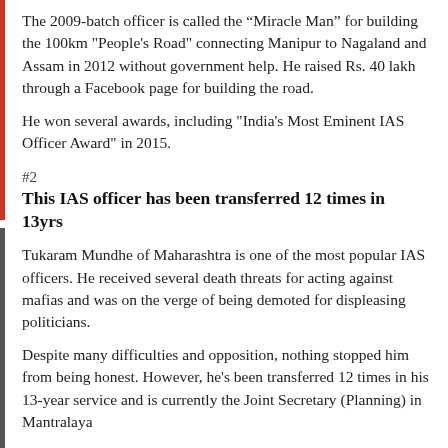The 2009-batch officer is called the 'Miracle Man' for building the 100km "People's Road" connecting Manipur to Nagaland and Assam in 2012 without government help. He raised Rs. 40 lakh through a Facebook page for building the road.
He won several awards, including "India's Most Eminent IAS Officer Award" in 2015.
#2
This IAS officer has been transferred 12 times in 13yrs
Tukaram Mundhe of Maharashtra is one of the most popular IAS officers. He received several death threats for acting against mafias and was on the verge of being demoted for displeasing politicians.
Despite many difficulties and opposition, nothing stopped him from being honest. However, he's been transferred 12 times in his 13-year service and is currently the Joint Secretary (Planning) in Mantralaya